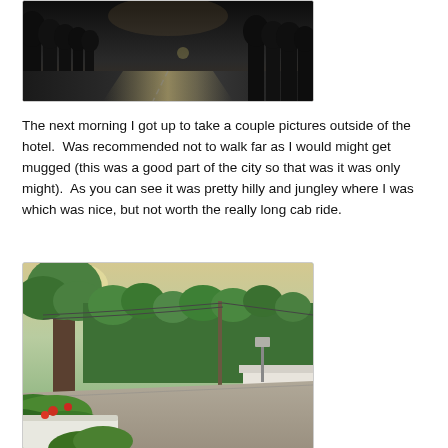[Figure (photo): Photograph of a road outside the hotel at dusk/dawn, dark scene with trees lining the road and a light streak visible, taken from an elevated angle.]
The next morning I got up to take a couple pictures outside of the hotel.  Was recommended not to walk far as I would might get mugged (this was a good part of the city so that was it was only might).  As you can see it was pretty hilly and jungley where I was which was nice, but not worth the really long cab ride.
[Figure (photo): Photograph of a street near the hotel showing lush green jungle vegetation, large trees, a utility pole with wires, a road curving away, and tropical plants in the foreground with sunlight filtering through the trees.]